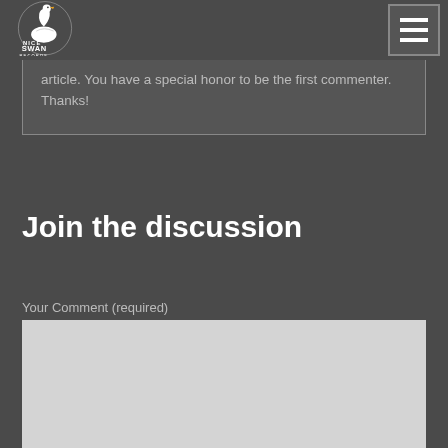Nice Swan Records
article. You have a special honor to be the first commenter. Thanks!
Join the discussion
Your Comment (required)